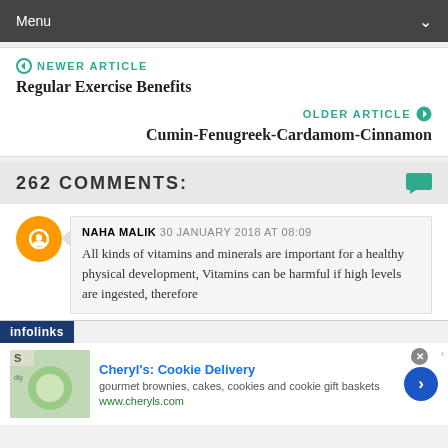Menu
NEWER ARTICLE
Regular Exercise Benefits
OLDER ARTICLE
Cumin-Fenugreek-Cardamom-Cinnamon
262 COMMENTS:
NAHA MALIK  30 JANUARY 2018 AT 08:09
All kinds of vitamins and minerals are important for a healthy physical development, Vitamins can be harmful if high levels are ingested, therefore
[Figure (screenshot): Ad banner for Cheryl's Cookie Delivery showing gourmet brownies, cakes, cookies and cookie gift baskets at www.cheryls.com]